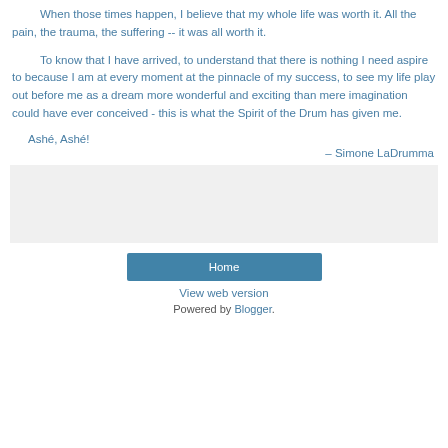When those times happen, I believe that my whole life was worth it. All the pain, the trauma, the suffering -- it was all worth it.
To know that I have arrived, to understand that there is nothing I need aspire to because I am at every moment at the pinnacle of my success, to see my life play out before me as a dream more wonderful and exciting than mere imagination could have ever conceived - this is what the Spirit of the Drum has given me.
Ashé, Ashé!
– Simone LaDrumma
[Figure (other): Gray background box, likely an advertisement or image placeholder]
Home
View web version
Powered by Blogger.